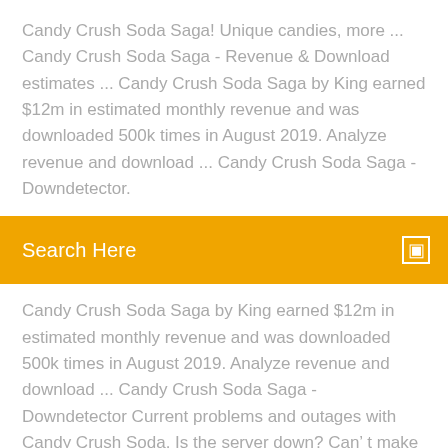Candy Crush Soda Saga! Unique candies, more ... Candy Crush Soda Saga - Revenue & Download estimates ... Candy Crush Soda Saga by King earned $12m in estimated monthly revenue and was downloaded 500k times in August 2019. Analyze revenue and download ... Candy Crush Soda Saga - Downdetector.
Search Here
Candy Crush Soda Saga by King earned $12m in estimated monthly revenue and was downloaded 500k times in August 2019. Analyze revenue and download ... Candy Crush Soda Saga - Downdetector Current problems and outages with Candy Crush Soda. Is the server down? Can’ t make pruchases? Here you see what is going on. Candy Crush Jelly Saga Siap Rilis Multiplatform - Tekno ... 8 Jan 2016 ... Sukses dengan dua game terdahulunya Candy Crush Saga dan Candy Crush Soda Saga, King perkenalkan seri Candy Crush Saga baru.